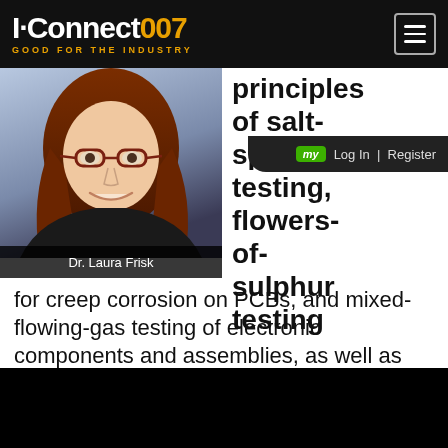I-Connect007 GOOD FOR THE INDUSTRY
[Figure (photo): Headshot photo of Dr. Laura Frisk, a woman with red/auburn hair and glasses, smiling, wearing a dark top, against a light blue gradient background. Caption bar reads 'Dr. Laura Frisk'.]
principles of salt-spray testing, flowers-of-sulphur testing for creep corrosion on PCBs, and mixed-flowing-gas testing of electronic components and assemblies, as well as humidity testing for studying the effect of residual impurities on